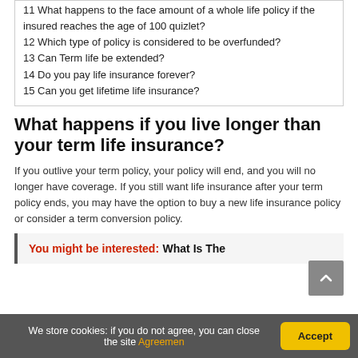11 What happens to the face amount of a whole life policy if the insured reaches the age of 100 quizlet?
12 Which type of policy is considered to be overfunded?
13 Can Term life be extended?
14 Do you pay life insurance forever?
15 Can you get lifetime life insurance?
What happens if you live longer than your term life insurance?
If you outlive your term policy, your policy will end, and you will no longer have coverage. If you still want life insurance after your term policy ends, you may have the option to buy a new life insurance policy or consider a term conversion policy.
You might be interested: What Is The
We store cookies: if you do not agree, you can close the site Agreemen